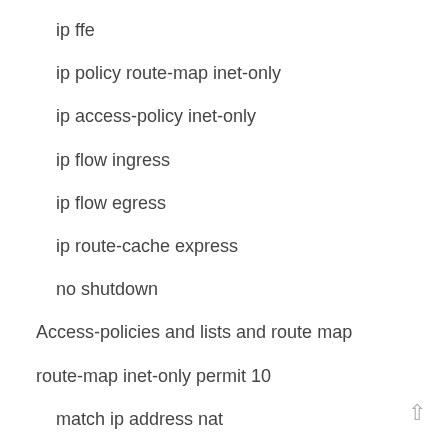ip ffe
ip policy route-map inet-only
ip access-policy inet-only
ip flow ingress
ip flow egress
ip route-cache express
no shutdown
Access-policies and lists and route map
route-map inet-only permit 10
match ip address nat
set ip next-hop 70.105.60.1
ip policy-class inet-only